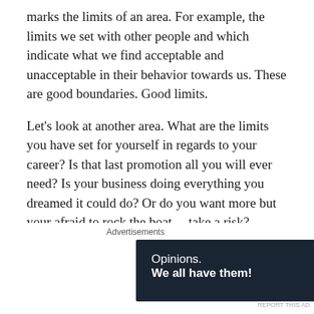marks the limits of an area. For example, the limits we set with other people and which indicate what we find acceptable and unacceptable in their behavior towards us. These are good boundaries. Good limits.
Let’s look at another area. What are the limits you have set for yourself in regards to your career? Is that last promotion all you will ever need? Is your business doing everything you dreamed it could do? Or do you want more but your afraid to rock the boat… take a risk?
Limits are hard to find as we all know that when we push past them, we can get hurt. We can fail. And this applies to all areas of our lives. Our personal
Advertisements
[Figure (other): Advertisement banner with dark navy background. Text reads: 'Opinions. We all have them!' with WordPress logo (W in circle) and another circular logo on the right.]